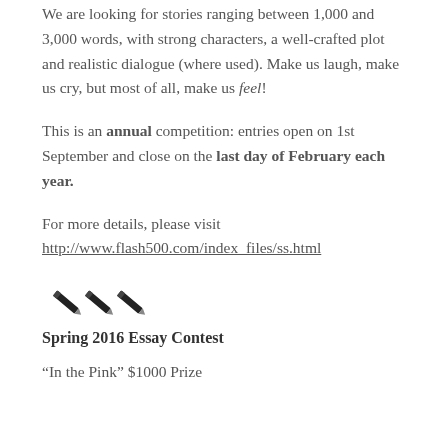We are looking for stories ranging between 1,000 and 3,000 words, with strong characters, a well-crafted plot and realistic dialogue (where used). Make us laugh, make us cry, but most of all, make us feel!
This is an annual competition: entries open on 1st September and close on the last day of February each year.
For more details, please visit http://www.flash500.com/index_files/ss.html
[Figure (illustration): Three black diagonal pencil/pen icons arranged in a row]
Spring 2016 Essay Contest
“In the Pink” $1000 Prize